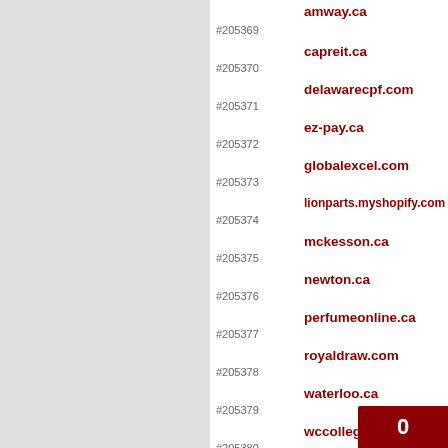#205369 amway.ca
#205370 capreit.ca
#205371 delawarecpf.com
#205372 ez-pay.ca
#205373 globalexcel.com
#205374 lionparts.myshopify.com
#205375 mckesson.ca
#205376 newton.ca
#205377 perfumeonline.ca
#205378 royaldraw.com
#205379 waterloo.ca
#205380 wccollege.ca
#205381 acelli.it